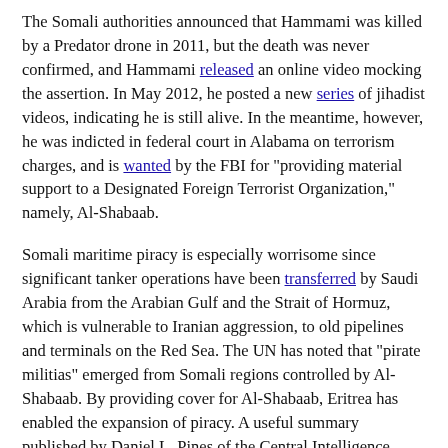The Somali authorities announced that Hammami was killed by a Predator drone in 2011, but the death was never confirmed, and Hammami released an online video mocking the assertion. In May 2012, he posted a new series of jihadist videos, indicating he is still alive. In the meantime, however, he was indicted in federal court in Alabama on terrorism charges, and is wanted by the FBI for "providing material support to a Designated Foreign Terrorist Organization," namely, Al-Shabaab.
Somali maritime piracy is especially worrisome since significant tanker operations have been transferred by Saudi Arabia from the Arabian Gulf and the Strait of Hormuz, which is vulnerable to Iranian aggression, to old pipelines and terminals on the Red Sea. The UN has noted that "pirate militias" emerged from Somali regions controlled by Al-Shabaab. By providing cover for Al-Shabaab, Eritrea has enabled the expansion of piracy. A useful summary published by Daniel L. Pines of the Central Intelligence Agency, entitled "Maritime Piracy: Changes in U.S. Law Needed to Combat this Critical National Security Concern," argues that "the United States possesses numerous legal options to combat piracy. However, the actual U.S. effort thus far has been fairly limited. True, its naval ships patrol the oceans around Somalia, but the U.S. strategy, as well as that of other nations patrolling such waters, appears to be mostly one of passive deterrence. Pirates may be attacked if they first attack a vessel in the region, but more